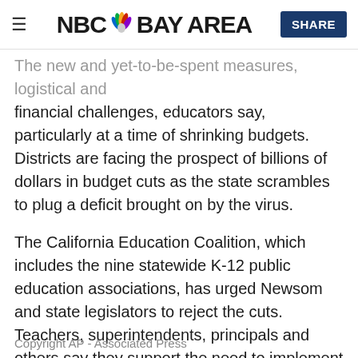NBC Bay Area
The new and yet-to-be-spent measures, logistical and financial challenges, educators say, particularly at a time of shrinking budgets. Districts are facing the prospect of billions of dollars in budget cuts as the state scrambles to plug a deficit brought on by the virus.
The California Education Coalition, which includes the nine statewide K-12 public education associations, has urged Newsom and state legislators to reject the cuts. Teachers, superintendents, principals and others say they support the need to implement physical distancing at schools, which would require decreased class sizes and dramatically increased cleaning in classrooms and across campuses. But all of that will cost more money.
Copyright AP - Associated Press